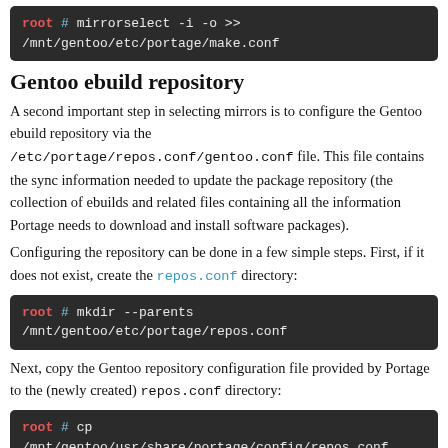[Figure (screenshot): Terminal code block showing: root # mirrorselect -i -o >> /mnt/gentoo/etc/portage/make.conf]
Gentoo ebuild repository
A second important step in selecting mirrors is to configure the Gentoo ebuild repository via the /etc/portage/repos.conf/gentoo.conf file. This file contains the sync information needed to update the package repository (the collection of ebuilds and related files containing all the information Portage needs to download and install software packages).
Configuring the repository can be done in a few simple steps. First, if it does not exist, create the repos.conf directory:
[Figure (screenshot): Terminal code block showing: root # mkdir --parents /mnt/gentoo/etc/portage/repos.conf]
Next, copy the Gentoo repository configuration file provided by Portage to the (newly created) repos.conf directory:
[Figure (screenshot): Terminal code block showing: root # cp /mnt/gentoo/usr/share/portage/config/repos.conf]